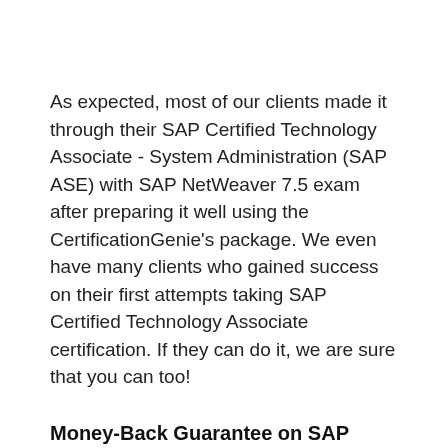As expected, most of our clients made it through their SAP Certified Technology Associate - System Administration (SAP ASE) with SAP NetWeaver 7.5 exam after preparing it well using the CertificationGenie's package. We even have many clients who gained success on their first attempts taking SAP Certified Technology Associate certification. If they can do it, we are sure that you can too!
Money-Back Guarantee on SAP C_TADM54_75 Dumps!